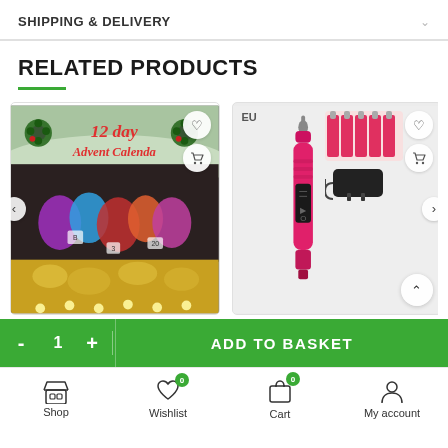SHIPPING & DELIVERY
RELATED PRODUCTS
[Figure (photo): Product card: 12 day Advent Calendar with colorful gift bags on dark background with golden decorations. Has wishlist heart and cart icons.]
[Figure (photo): Product card: EU plug pink nail drill set with pink electric nail drill pen and accessories (nail bits and charger adapter). Has wishlist heart and cart icons, EU badge, and scroll-up button.]
ADD TO BASKET
Shop | Wishlist | Cart | My account